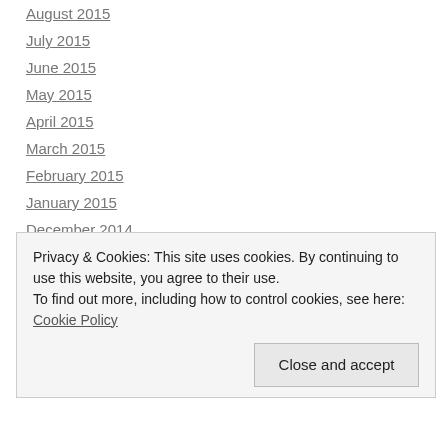August 2015
July 2015
June 2015
May 2015
April 2015
March 2015
February 2015
January 2015
December 2014
November 2014
October 2014
September 2014
August 2014
Privacy & Cookies: This site uses cookies. By continuing to use this website, you agree to their use.
To find out more, including how to control cookies, see here: Cookie Policy
Close and accept